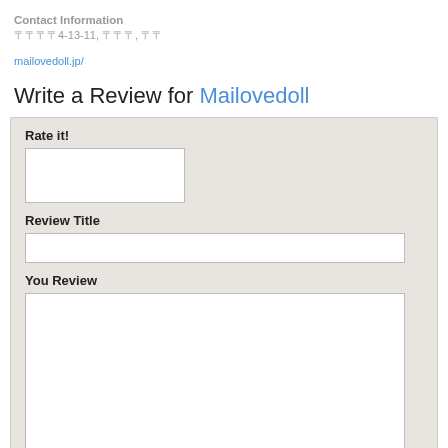Contact Information
〒〒〒〒4-13-11, 〒〒〒, 〒〒
mailovedoll.jp/
Write a Review for Mailovedoll
Rate it!
Review Title
You Review